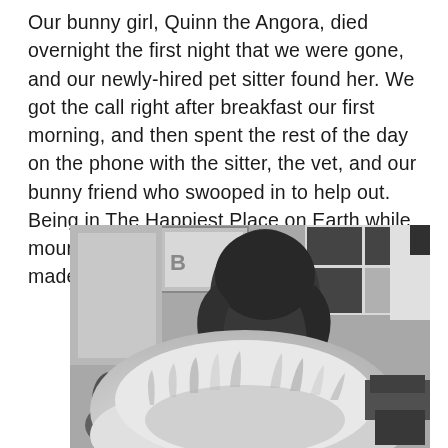Our bunny girl, Quinn the Angora, died overnight the first night that we were gone, and our newly-hired pet sitter found her. We got the call right after breakfast our first morning, and then spent the rest of the day on the phone with the sitter, the vet, and our bunny friend who swooped in to help out. Being in The Happiest Place on Earth while mourning the loss of one of our sweet babies made it hard to get into the Disney Magic.
[Figure (photo): Black and white photo of a fluffy Angora rabbit with a person visible behind it. The rabbit's long fur dominates the foreground. A window and framed art are visible in the background.]